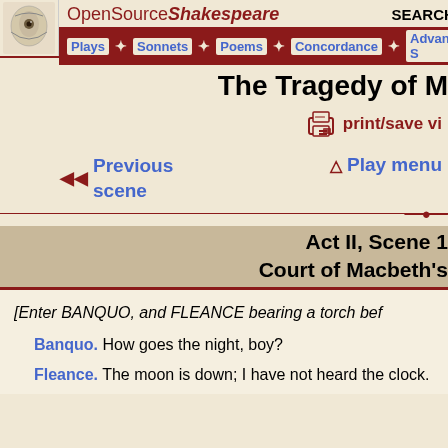OpenSourceShakespeare — SEARCH TE... | Plays + Sonnets + Poems + Concordance + Advanced S...
The Tragedy of M
print/save vi
Previous scene    Play menu
Act II, Scene 1
Court of Macbeth's
[Enter BANQUO, and FLEANCE bearing a torch bef
Banquo. How goes the night, boy?
Fleance. The moon is down; I have not heard the clock.